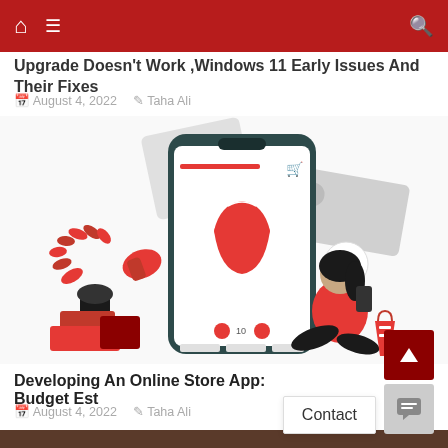Navigation bar with home, menu, and search icons
Upgrade Doesn't Work ,Windows 11 Early Issues And Their Fixes
August 4, 2022  Taha Ali
[Figure (illustration): E-commerce mobile app illustration showing a woman sitting cross-legged using a smartphone, with a large phone displaying a red dress, shopping bags, credit cards, shoes, and decorative plant elements in red and dark teal colors.]
Developing An Online Store App: Budget Est
August 4, 2022  Taha Ali